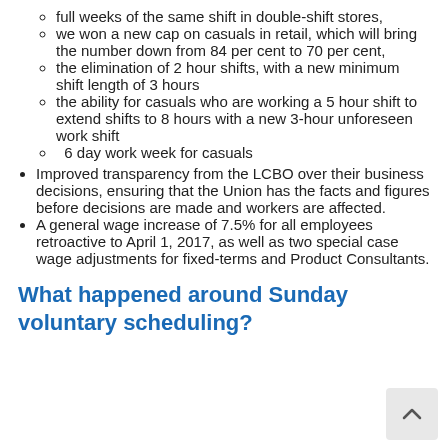full weeks of the same shift in double-shift stores,
we won a new cap on casuals in retail, which will bring the number down from 84 per cent to 70 per cent,
the elimination of 2 hour shifts, with a new minimum shift length of 3 hours
the ability for casuals who are working a 5 hour shift to extend shifts to 8 hours with a new 3-hour unforeseen work shift
6 day work week for casuals
Improved transparency from the LCBO over their business decisions, ensuring that the Union has the facts and figures before decisions are made and workers are affected.
A general wage increase of 7.5% for all employees retroactive to April 1, 2017, as well as two special case wage adjustments for fixed-terms and Product Consultants.
What happened around Sunday voluntary scheduling?